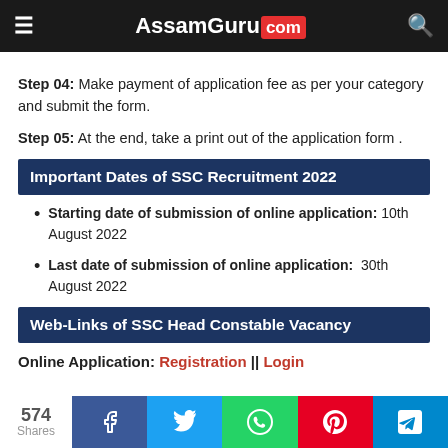AssamGuru.com
Step 04: Make payment of application fee as per your category and submit the form.
Step 05: At the end, take a print out of the application form .
Important Dates of SSC Recruitment 2022
Starting date of submission of online application: 10th August 2022
Last date of submission of online application: 30th August 2022
Web-Links of SSC Head Constable Vacancy
Online Application: Registration || Login